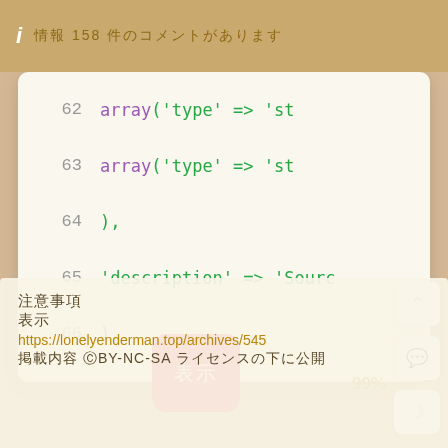ℹ 情報 158 件のコメントがあります
[Figure (screenshot): Code snippet showing PHP array lines 62-66 with syntax highlighting. Line 62: array('type' => 'st..., Line 63: array('type' => 'st..., Line 64: ),, Line 65: 'description' => 'Sourc..., Line 66: ),]
[Figure (screenshot): Pink button with Japanese characters, and side panel with up arrow, comment, and moon icons. 99% label visible.]
注意事項
表示
https://lonelyenderman.top/archives/545
掲載内容 ©BY-NC-SA ライセンスの下に公開